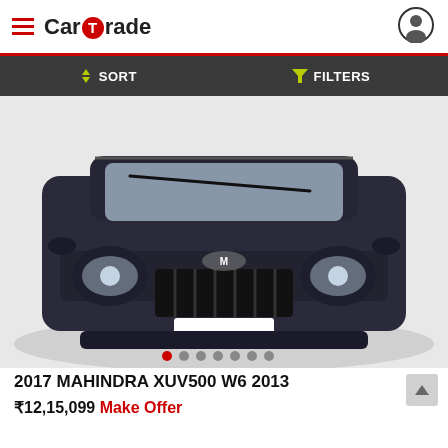CarTrade
SORT   FILTERS
[Figure (photo): Front view of a dark grey/black Mahindra XUV500 W6 2013 SUV on a circular platform, with license plate blurred white. Image carousel with 7 dots indicator below, first dot active (red).]
2017 MAHINDRA XUV500 W6 2013
₹12,15,099  Make Offer